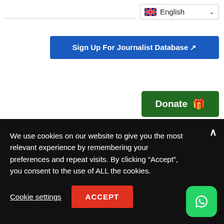[Figure (screenshot): English language selector dropdown with UK flag icon]
[Figure (screenshot): Blue button labeled 'Sign Up For Journalist Database' with arrow icon]
[Figure (screenshot): Dark green Donate button with gift icon]
Follow Us
on our different social media handles today
[Figure (screenshot): Three dark blue social media circle icons partially visible]
We use cookies on our website to give you the most relevant experience by remembering your preferences and repeat visits. By clicking “Accept”, you consent to the use of ALL the cookies.
Cookie settings
ACCEPT